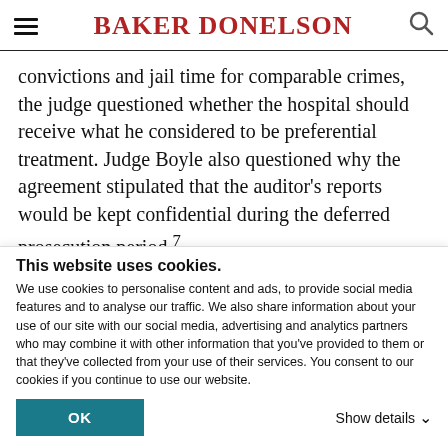BAKER DONELSON
convictions and jail time for comparable crimes, the judge questioned whether the hospital should receive what he considered to be preferential treatment. Judge Boyle also questioned why the agreement stipulated that the auditor's reports would be kept confidential during the deferred prosecution period.7
In response to this judicial scrutiny, the government
This website uses cookies.
We use cookies to personalise content and ads, to provide social media features and to analyse our traffic. We also share information about your use of our site with our social media, advertising and analytics partners who may combine it with other information that you've provided to them or that they've collected from your use of their services. You consent to our cookies if you continue to use our website.
OK   Show details